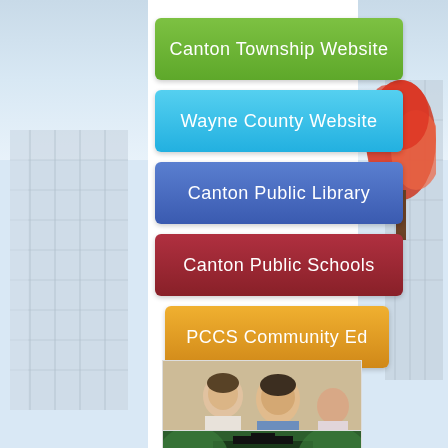[Figure (screenshot): Background: building on left side, building with red autumn tree on right side, light blue sky]
Canton Township Website
Wayne County Website
Canton Public Library
Canton Public Schools
PCCS Community Ed
[Figure (photo): Two boys looking at a tablet/iPad together in a classroom setting]
[Figure (photo): Partial view of a graduation scene]